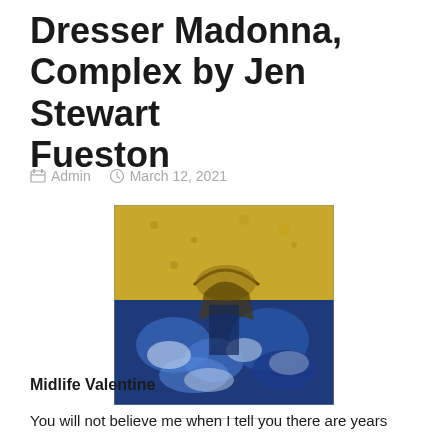Dresser Madonna, Complex by Jen Stewart Fueston
Admin   March 12, 2021
[Figure (photo): Painting with gold and blue tones depicting an abstract figure or madonna, with textured surface. Upper portion is gold/yellow, lower portion is deep blue with white highlights.]
Midlife Valentine
You will not believe me when I tell you there are years